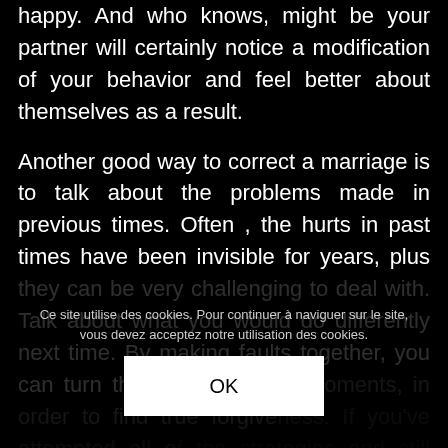happy. And who knows, might be your partner will certainly notice a modification of your behavior and feel better about themselves as a result.
Another good way to correct a marriage is to talk about the problems made in previous times. Often , the hurts in past times have been invisible for years, plus they can be very challenging to deal with. Talk about what you would do differently next time. By making faults together, you can turn them into learning moments, in order to find true forgiveness. If you've attempted all of the strategies and still aren't get the same results, go to therapy.
Ce site utilise des cookies. Pour continuer à naviguer sur le site, vous devez acceptez notre utilisation des cookies.